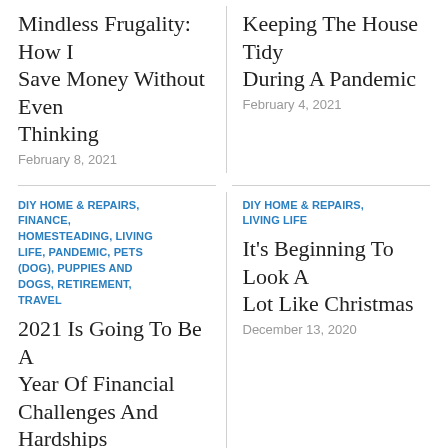Mindless Frugality: How I Save Money Without Even Thinking
February 8, 2021
Keeping The House Tidy During A Pandemic
February 4, 2021
DIY HOME & REPAIRS, FINANCE, HOMESTEADING, LIVING LIFE, PANDEMIC, PETS (DOG), PUPPIES AND DOGS, RETIREMENT, TRAVEL
2021 Is Going To Be A Year Of Financial Challenges And Hardships
December 27, 2020
DIY HOME & REPAIRS, LIVING LIFE
It's Beginning To Look A Lot Like Christmas
December 13, 2020
DIY HOME & REPAIRS
DIY HOME & REPAIRS